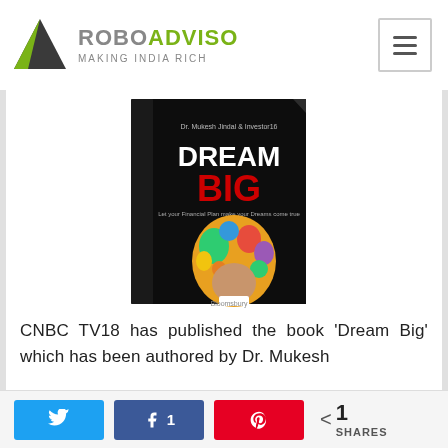ROBOADVISO MAKING INDIA RICH
[Figure (photo): Book cover of 'Dream Big' published by CNBC TV18, authored by Dr. Mukesh Jindal. Black cover with colorful illustrated head and 'DREAM BIG' text in red and white.]
CNBC TV18 has published the book ‘Dream Big’ which has been authored by Dr. Mukesh
Twitter share button, Facebook share button with count 1, Pinterest share button, < 1 SHARES